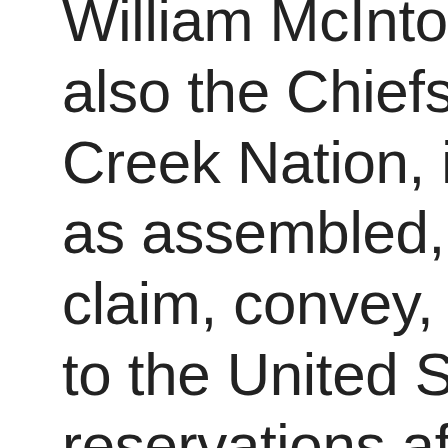William McIntosh, and also the Chiefs of the Creek Nation, in council as assembled, do quit claim, convey, and cede to the United States, the reservations aforesaid, for, and in consideration of, the sum of twenty-five thousand dollars, to be paid at the time and in the manner as stipulated, for the first installment provided for in the preceding treaty. Upon the ratification of these articles, the possession of said reservations shall be considered as passing to the United States, and the accruing rents of the present year shall pass also.